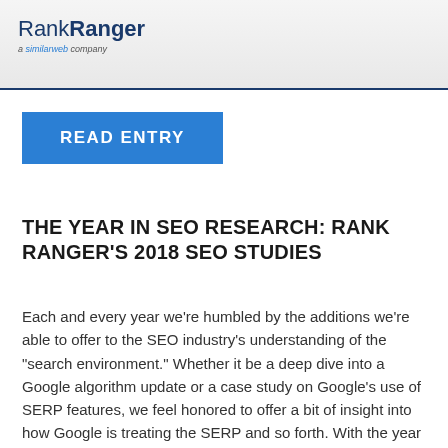RankRanger a similarweb company
[Figure (logo): RankRanger logo with text 'a similarweb company' below]
READ ENTRY
THE YEAR IN SEO RESEARCH: RANK RANGER'S 2018 SEO STUDIES
Each and every year we're humbled by the additions we're able to offer to the SEO industry's understanding of the "search environment." Whether it be a deep dive into a Google algorithm update or a case study on Google's use of SERP features, we feel honored to offer a bit of insight into how Google is treating the SERP and so forth. With the year coming to a close, here's a review of the original research